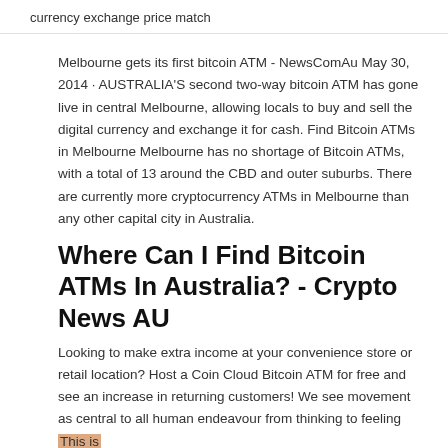currency exchange price match
Melbourne gets its first bitcoin ATM - NewsComAu May 30, 2014 · AUSTRALIA'S second two-way bitcoin ATM has gone live in central Melbourne, allowing locals to buy and sell the digital currency and exchange it for cash. Find Bitcoin ATMs in Melbourne Melbourne has no shortage of Bitcoin ATMs, with a total of 13 around the CBD and outer suburbs. There are currently more cryptocurrency ATMs in Melbourne than any other capital city in Australia.
Where Can I Find Bitcoin ATMs In Australia? - Crypto News AU
Looking to make extra income at your convenience store or retail location? Host a Coin Cloud Bitcoin ATM for free and see an increase in returning customers! We see movement as central to all human endeavour from thinking to feeling This is a Lamassu Bitcoin ATM, locate in Blue Bar in Melbourne area,